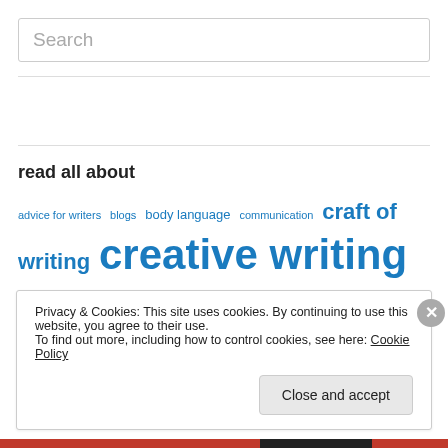Search
read all about
advice for writers blogs body language communication craft of writing creative writing editing faith fiction grammar inspiration marketing message novel online online marketing
Privacy & Cookies: This site uses cookies. By continuing to use this website, you agree to their use.
To find out more, including how to control cookies, see here: Cookie Policy
Close and accept